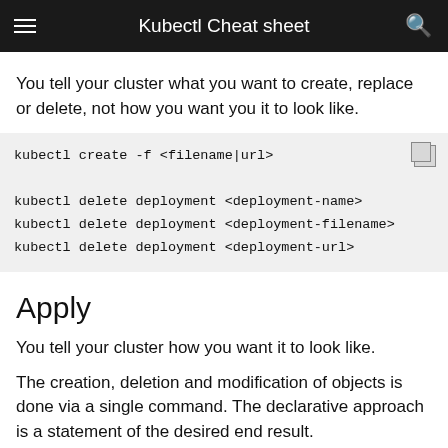Kubectl Cheat sheet
You tell your cluster what you want to create, replace or delete, not how you want you it to look like.
kubectl create -f <filename|url>

kubectl delete deployment <deployment-name>
kubectl delete deployment <deployment-filename>
kubectl delete deployment <deployment-url>
Apply
You tell your cluster how you want it to look like.
The creation, deletion and modification of objects is done via a single command. The declarative approach is a statement of the desired end result.